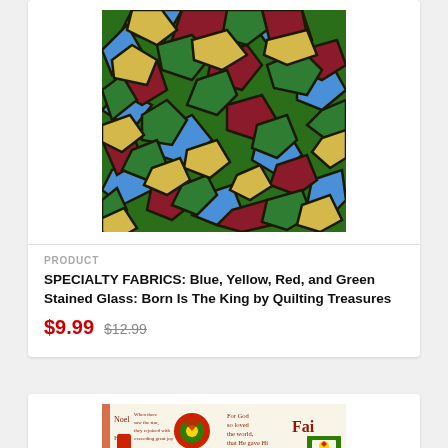[Figure (photo): Stained glass fabric pattern with blue, yellow, red, and green mosaic-style irregular shapes with dark outlines]
PRODUCT
SPECIALTY FABRICS: Blue, Yellow, Red, and Green Stained Glass: Born Is The King by Quilting Treasures
$9.99 $12.99
[Figure (photo): Christmas fabric panel with text including Bible verses (John 3:16), decorative floral motifs, and holiday words like Noel, Hope, Faith in red and green on cream background]